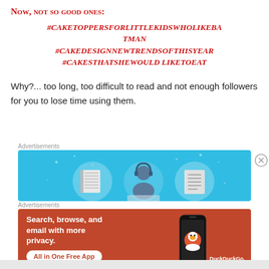Now, not so good ones:
#CAKETOPPERSFORLITTLEKIDSWHOLIKEBATMAN
#CAKEDESIGNNEWTRENDSOFTHISYEAR
#CAKESTHATSHEWOULD LIKETOEAT
Why?... too long, too difficult to read and not enough followers for you to lose time using them.
Advertisements
[Figure (screenshot): Blue advertisement banner with illustrated icons of a notebook, person with headphones, and server/document list on a light blue background]
Advertisements
[Figure (screenshot): DuckDuckGo orange advertisement: 'Search, browse, and email with more privacy. All in One Free App' with phone image and DuckDuckGo logo]